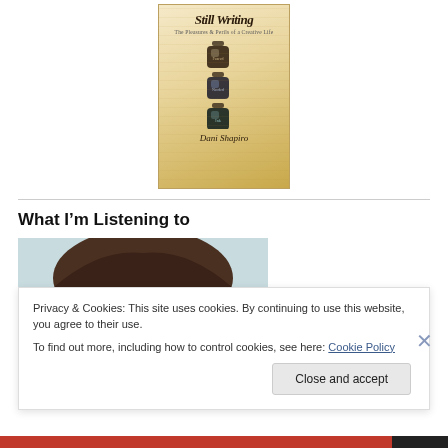[Figure (illustration): Book cover for 'Still Writing' by Dani Shapiro showing ink bottles illustration on aged paper background]
What I'm Listening to
[Figure (photo): Partial photo of a man's head, cropped, with light background]
Privacy & Cookies: This site uses cookies. By continuing to use this website, you agree to their use.
To find out more, including how to control cookies, see here: Cookie Policy
Close and accept